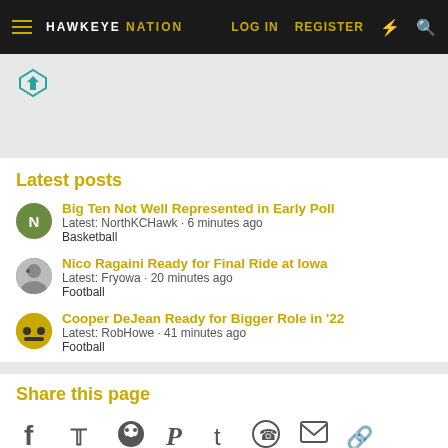HAWKEYE NATION | LOG IN | REGISTER
[Figure (logo): Hawkeye Nation navigation bar with hamburger menu, brand name, LOG IN, REGISTER, lightning bolt and search icons]
[Figure (other): Ad placeholder area with teal pentagon/arrow icon]
Latest posts
Big Ten Not Well Represented in Early Poll
Latest: NorthKCHawk · 6 minutes ago
Basketball
Nico Ragaini Ready for Final Ride at Iowa
Latest: Fryowa · 20 minutes ago
Football
Cooper DeJean Ready for Bigger Role in '22
Latest: RobHowe · 41 minutes ago
Football
Share this page
[Figure (other): Social share icons: Facebook, Twitter, Reddit, Pinterest, Tumblr, WhatsApp, Email, Link]